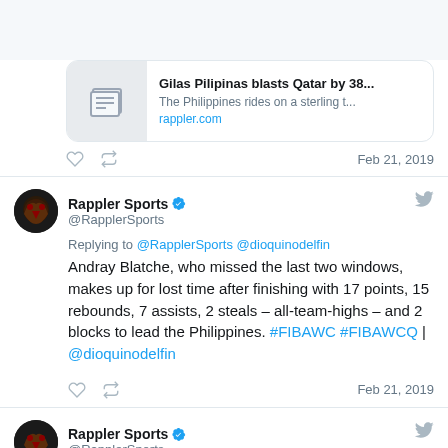[Figure (screenshot): Twitter/social media link card for article 'Gilas Pilipinas blasts Qatar by 38...' from rappler.com]
Feb 21, 2019
Rappler Sports @RapplerSports
Replying to @RapplerSports @dioquinodelfin
Andray Blatche, who missed the last two windows, makes up for lost time after finishing with 17 points, 15 rebounds, 7 assists, 2 steals – all-team-highs – and 2 blocks to lead the Philippines. #FIBAWC #FIBAWCQ | @dioquinodelfin
Feb 21, 2019
Rappler Sports @RapplerSports
BREAKING NEWS. Gilas Pilipinas shreds Qatar